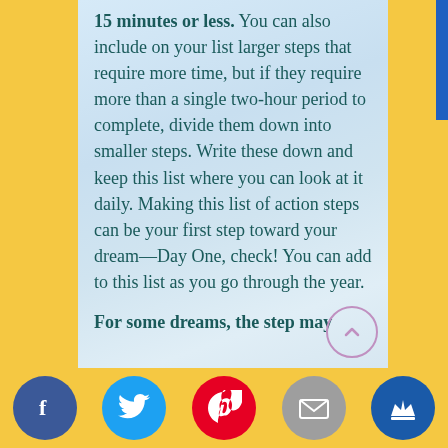15 minutes or less. You can also include on your list larger steps that require more time, but if they require more than a single two-hour period to complete, divide them down into smaller steps. Write these down and keep this list where you can look at it daily. Making this list of action steps can be your first step toward your dream—Day One, check! You can add to this list as you go through the year.
For some dreams, the step may same e ay. For